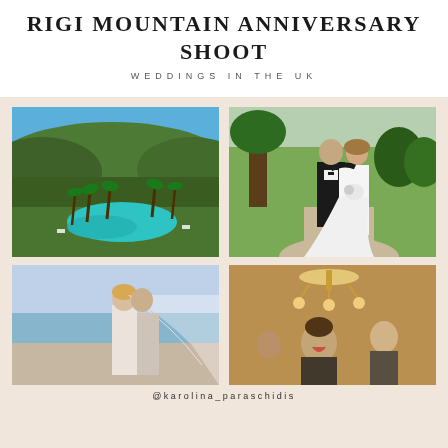RIGI MOUNTAIN ANNIVERSARY SHOOT
WEDDINGS IN THE UK
[Figure (photo): Aerial view of a resort with a large pool, palm trees, and rolling forested hills in the background]
[Figure (photo): Wedding couple standing together outdoors on a gravel path, groom in black tuxedo, bride in white gown holding bouquet]
[Figure (photo): Close-up of bride and groom embracing near water, bride wearing veil]
[Figure (photo): Woman laughing at a wedding reception event with chandeliers in background]
@karolina_paraschidis